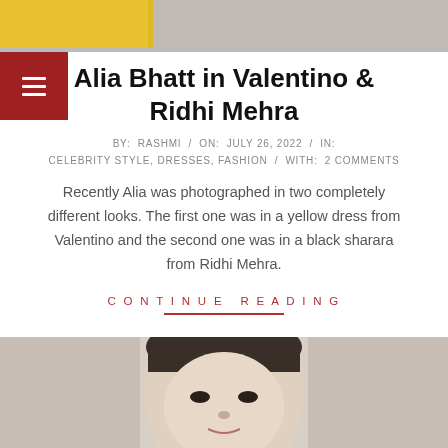[Figure (photo): Top portion of article showing cropped photo of celebrities in colorful outfits]
Alia Bhatt in Valentino & Ridhi Mehra
BY: RASHMI / ON: JULY 26, 2022 / IN: CELEBRITY STYLE, DRESSES, FASHION / WITH: 2 COMMENTS
Recently Alia was photographed in two completely different looks. The first one was in a yellow dress from Valentino and the second one was in a black sharara from Ridhi Mehra.
CONTINUE READING
[Figure (photo): Bottom portion showing a woman with hair pulled back, light skin, wearing what appears to be a light-colored outfit, photographed from shoulders up]